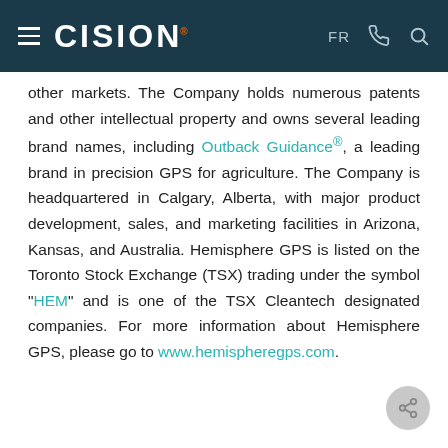CISION — FR
other markets. The Company holds numerous patents and other intellectual property and owns several leading brand names, including Outback Guidance®, a leading brand in precision GPS for agriculture. The Company is headquartered in Calgary, Alberta, with major product development, sales, and marketing facilities in Arizona, Kansas, and Australia. Hemisphere GPS is listed on the Toronto Stock Exchange (TSX) trading under the symbol "HEM" and is one of the TSX Cleantech designated companies. For more information about Hemisphere GPS, please go to www.hemispheregps.com.